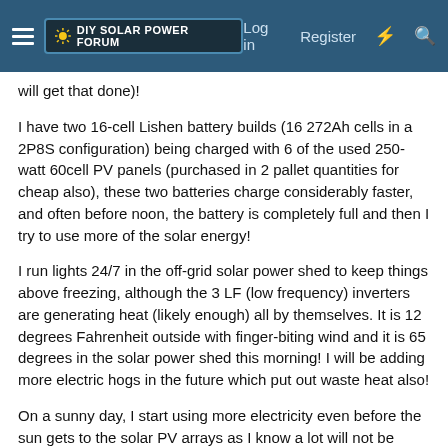DIY Solar Power Forum | Log in | Register
will get that done)!
I have two 16-cell Lishen battery builds (16 272Ah cells in a 2P8S configuration) being charged with 6 of the used 250-watt 60cell PV panels (purchased in 2 pallet quantities for cheap also), these two batteries charge considerably faster, and often before noon, the battery is completely full and then I try to use more of the solar energy!
I run lights 24/7 in the off-grid solar power shed to keep things above freezing, although the 3 LF (low frequency) inverters are generating heat (likely enough) all by themselves. It is 12 degrees Fahrenheit outside with finger-biting wind and it is 65 degrees in the solar power shed this morning! I will be adding more electric hogs in the future which put out waste heat also!
On a sunny day, I start using more electricity even before the sun gets to the solar PV arrays as I know a lot will not be used. later I am assembling a water heating system to utilize the